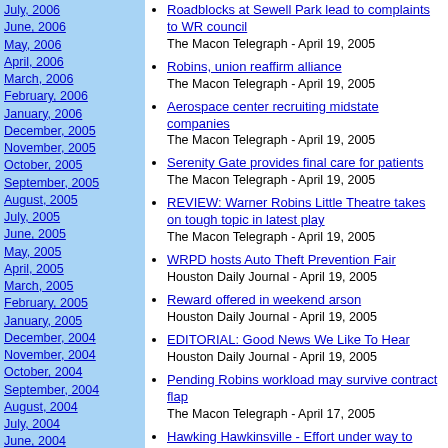July, 2006
June, 2006
May, 2006
April, 2006
March, 2006
February, 2006
January, 2006
December, 2005
November, 2005
October, 2005
September, 2005
August, 2005
July, 2005
June, 2005
May, 2005
April, 2005
March, 2005
February, 2005
January, 2005
December, 2004
November, 2004
October, 2004
September, 2004
August, 2004
July, 2004
June, 2004
May, 2004
April, 2004
March, 2004
February, 2004
Roadblocks at Sewell Park lead to complaints to WR council - The Macon Telegraph - April 19, 2005
Robins, union reaffirm alliance - The Macon Telegraph - April 19, 2005
Aerospace center recruiting midstate companies - The Macon Telegraph - April 19, 2005
Serenity Gate provides final care for patients - The Macon Telegraph - April 19, 2005
REVIEW: Warner Robins Little Theatre takes on tough topic in latest play - The Macon Telegraph - April 19, 2005
WRPD hosts Auto Theft Prevention Fair - Houston Daily Journal - April 19, 2005
Reward offered in weekend arson - Houston Daily Journal - April 19, 2005
EDITORIAL: Good News We Like To Hear - Houston Daily Journal - April 19, 2005
Pending Robins workload may survive contract flap - The Macon Telegraph - April 17, 2005
Hawking Hawkinsville - Effort under way to reinvigorate riverboat town